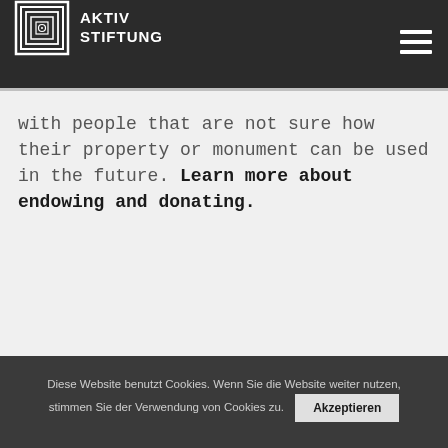AKTIV STIFTUNG
with people that are not sure how their property or monument can be used in the future. Learn more about endowing and donating.
Diese Website benutzt Cookies. Wenn Sie die Website weiter nutzen, stimmen Sie der Verwendung von Cookies zu. Akzeptieren